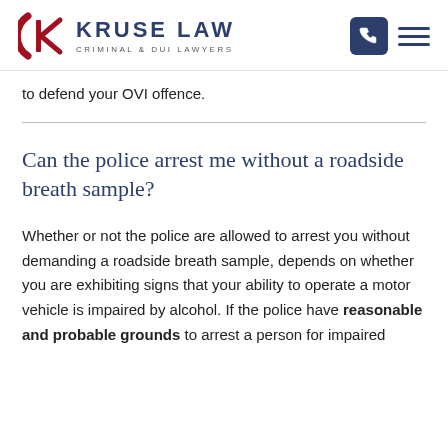KRUSE LAW CRIMINAL & DUI LAWYERS
to defend your OVI offence.
Can the police arrest me without a roadside breath sample?
Whether or not the police are allowed to arrest you without demanding a roadside breath sample, depends on whether you are exhibiting signs that your ability to operate a motor vehicle is impaired by alcohol. If the police have reasonable and probable grounds to arrest a person for impaired